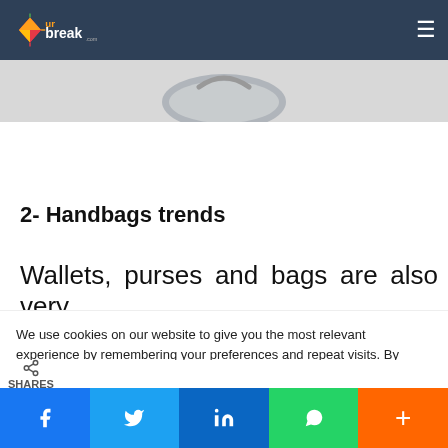urbreak.com
[Figure (photo): Partial view of a handbag against a grey background]
2- Handbags trends
Wallets, purses and bags are also very
We use cookies on our website to give you the most relevant experience by remembering your preferences and repeat visits. By clicking "Accept", you consent to the use of ALL the cookies. Do not sell my personal information.
SHARES | Facebook | Twitter | LinkedIn | WhatsApp | More